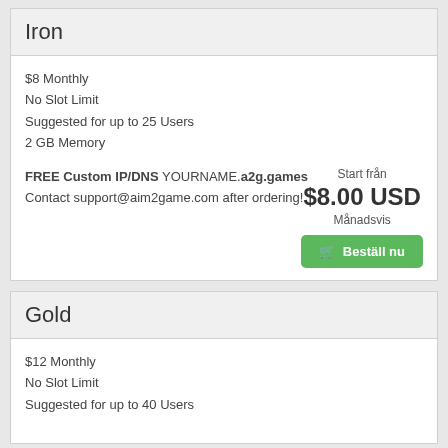Iron
$8 Monthly
No Slot Limit
Suggested for up to 25 Users
2 GB Memory
FREE Custom IP/DNS YOURNAME.a2g.games
Contact support@aim2game.com after ordering!
Start från
$8.00 USD
Månadsvis
Beställ nu
Gold
$12 Monthly
No Slot Limit
Suggested for up to 40 Users